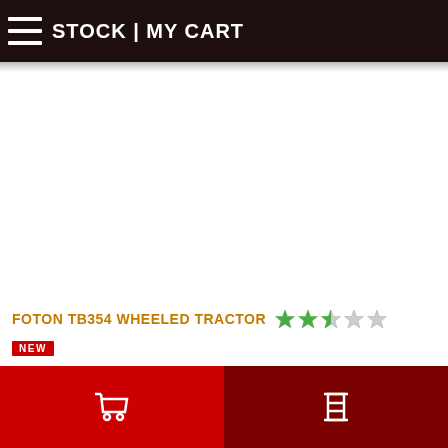STOCK | MY CART
[Figure (photo): Product image area - white/blank space for FOTON TB354 Wheeled Tractor product photo]
FOTON TB354 WHEELED TRACTOR
NEW badge label
Shopping cart icon | Filter/menu icon navigation bar